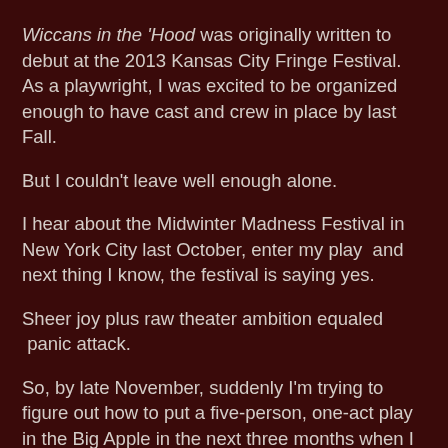Wiccans in the 'Hood was originally written to debut at the 2013 Kansas City Fringe Festival. As a playwright, I was excited to be organized enough to have cast and crew in place by last Fall.
But I couldn't leave well enough alone.
I hear about the Midwinter Madness Festival in New York City last October, enter my play  and next thing I know, the festival is saying yes.
Sheer joy plus raw theater ambition equaled  panic attack.
So, by late November, suddenly I'm trying to figure out how to put a five-person, one-act play in the Big Apple in the next three months when I have no money and don't know any directors or actors in New York City.
While I did briefly think about flying my Kansas City cast and crew to NYC, when  I crunched those numbers I figured building a rocket ship in my backyard with tin foil and left